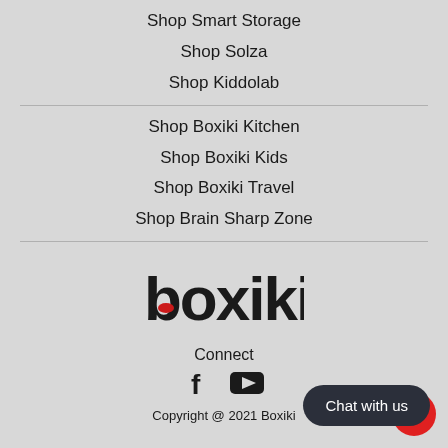Shop Smart Storage
Shop Solza
Shop Kiddolab
Shop Boxiki Kitchen
Shop Boxiki Kids
Shop Boxiki Travel
Shop Brain Sharp Zone
[Figure (logo): Boxiki logo - stylized lowercase 'boxiki' text with a red oval accent on the b]
Connect
[Figure (illustration): Social media icons: Facebook f icon and YouTube play button icon]
Copyright @ 2021 Boxiki
Chat with us